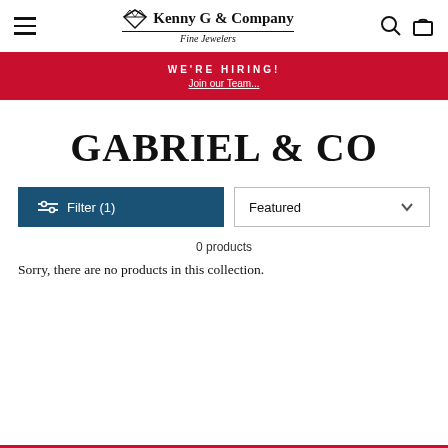Kenny G & Company Fine Jewelers - navigation header
WE'RE HIRING! Join our Team...
GABRIEL & CO
Filter (1) | Featured | 0 products
Sorry, there are no products in this collection.